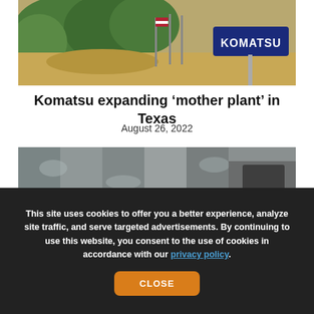[Figure (photo): Aerial view of Komatsu facility with flags and a large Komatsu sign, surrounded by trees and sandy ground]
Komatsu expanding ‘mother plant’ in Texas
August 26, 2022
[Figure (photo): Aerial or ground-level view of heavy construction equipment at a worksite]
This site uses cookies to offer you a better experience, analyze site traffic, and serve targeted advertisements. By continuing to use this website, you consent to the use of cookies in accordance with our privacy policy.
CLOSE